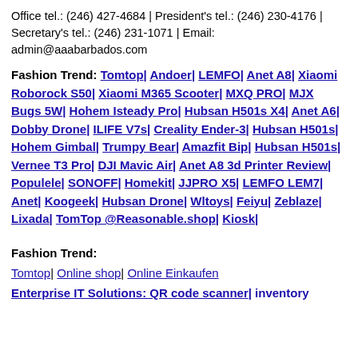Office tel.: (246) 427-4684 | President's tel.: (246) 230-4176 | Secretary's tel.: (246) 231-1071 | Email: admin@aaabarbados.com
Fashion Trend: Tomtop| Andoer| LEMFO| Anet A8| Xiaomi Roborock S50| Xiaomi M365 Scooter| MXQ PRO| MJX Bugs 5W| Hohem Isteady Pro| Hubsan H501s X4| Anet A6| Dobby Drone| ILIFE V7s| Creality Ender-3| Hubsan H501s| Hohem Gimbal| Trumpy Bear| Amazfit Bip| Hubsan H501s| Vernee T3 Pro| DJI Mavic Air| Anet A8 3d Printer Review| Populele| SONOFF| Homekit| JJPRO X5| LEMFO LEM7| Anet| Koogeek| Hubsan Drone| Wltoys| Feiyu| Zeblaze| Lixada| TomTop @Reasonable.shop| Kiosk|
Fashion Trend:
Tomtop| Online shop| Online Einkaufen
Enterprise IT Solutions: QR code scanner| inventory